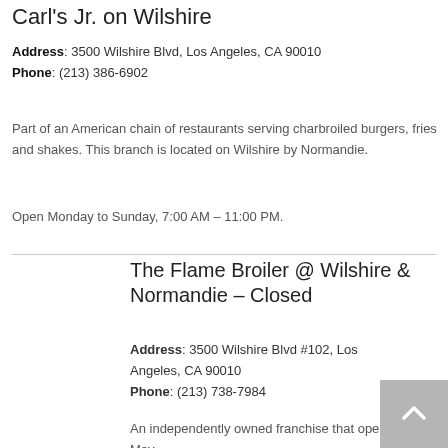Carl's Jr. on Wilshire
Address: 3500 Wilshire Blvd, Los Angeles, CA 90010
Phone: (213) 386-6902
Part of an American chain of restaurants serving charbroiled burgers, fries and shakes. This branch is located on Wilshire by Normandie.
Open Monday to Sunday, 7:00 AM – 11:00 PM.
The Flame Broiler @ Wilshire & Normandie – Closed
Address: 3500 Wilshire Blvd #102, Los Angeles, CA 90010
Phone: (213) 738-7984
An independently owned franchise that opened in May